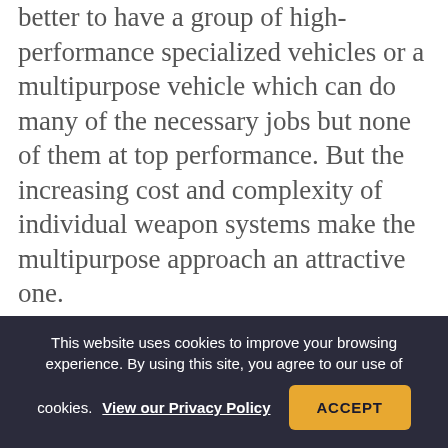better to have a group of high-performance specialized vehicles or a multipurpose vehicle which can do many of the necessary jobs but none of them at top performance. But the increasing cost and complexity of individual weapon systems make the multipurpose approach an attractive one.

The Spaceplane proponents do not suggest that the current space programs be canceled and that all effort be put on the all-purpose vehicle. They do believe
This website uses cookies to improve your browsing experience. By using this site, you agree to our use of cookies. View our Privacy Policy